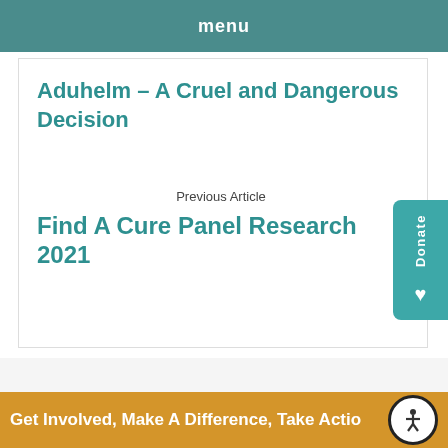menu
Aduhelm – A Cruel and Dangerous Decision
Previous Article
Find A Cure Panel Research 2021
Get Involved, Make A Difference, Take Action